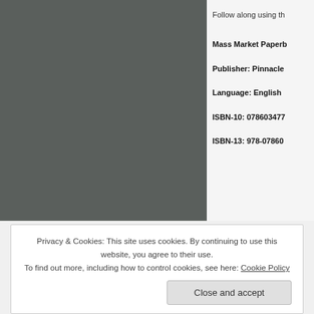[Figure (photo): Dark gray book cover image on left side]
Follow along using th
Mass Market Paperb
Publisher: Pinnacle
Language: English
ISBN-10: 078603477
ISBN-13: 978-07860
Privacy & Cookies: This site uses cookies. By continuing to use this website, you agree to their use.
To find out more, including how to control cookies, see here: Cookie Policy
Close and accept